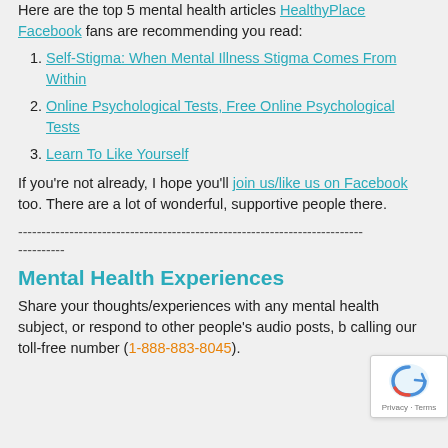Here are the top 5 mental health articles HealthyPlace Facebook fans are recommending you read:
1. Self-Stigma: When Mental Illness Stigma Comes From Within
2. Online Psychological Tests, Free Online Psychological Tests
3. Learn To Like Yourself
If you're not already, I hope you'll join us/like us on Facebook too. There are a lot of wonderful, supportive people there.
------------------------------------------------------------------------------------------------------------------------------------------
Mental Health Experiences
Share your thoughts/experiences with any mental health subject, or respond to other people's audio posts, by calling our toll-free number (1-888-883-8045).